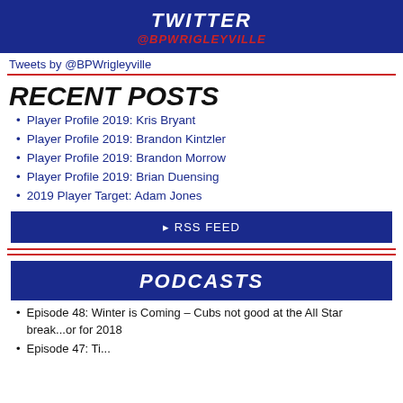TWITTER @BPWRIGLEYVILLE
Tweets by @BPWrigleyville
RECENT POSTS
Player Profile 2019: Kris Bryant
Player Profile 2019: Brandon Kintzler
Player Profile 2019: Brandon Morrow
Player Profile 2019: Brian Duensing
2019 Player Target: Adam Jones
RSS FEED
PODCASTS
Episode 48: Winter is Coming – Cubs not good at the All Star break...or for 2018
Episode 47: Tin...